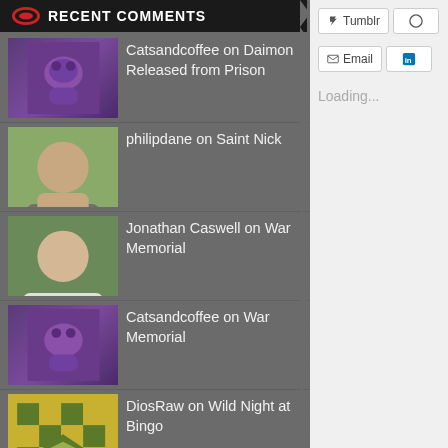RECENT COMMENTS
Catsandcoffee on Daimon Released from Prison
philipdane on Saint Nick
Jonathan Caswell on War Memorial
Catsandcoffee on War Memorial
DiosRaw on Wild Night at Bingo
RSS - Posts
RSS - Comments
CATEGORIES
Dialog
Poetry
Tumblr
Email
Loading...